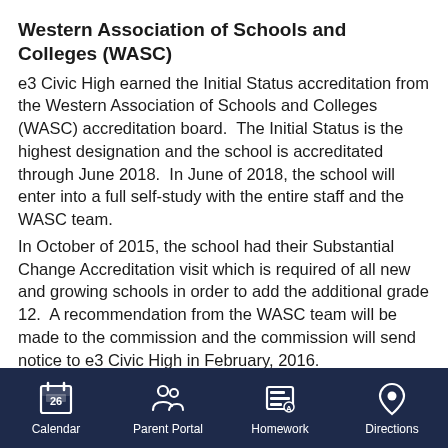Western Association of Schools and Colleges (WASC)
e3 Civic High earned the Initial Status accreditation from the Western Association of Schools and Colleges (WASC) accreditation board.  The Initial Status is the highest designation and the school is accreditated through June 2018.  In June of 2018, the school will enter into a full self-study with the entire staff and the WASC team.
In October of 2015, the school had their Substantial Change Accreditation visit which is required of all new and growing schools in order to add the additional grade 12.  A recommendation from the WASC team will be made to the commission and the commission will send notice to e3 Civic High in February, 2016.
Calendar | Parent Portal | Homework | Directions